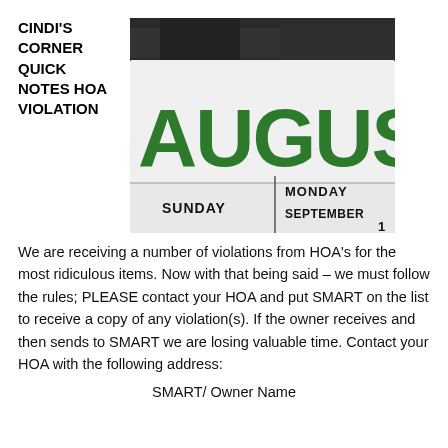CINDI'S CORNER QUICK NOTES HOA VIOLATION
[Figure (photo): Close-up photo of an August calendar page with large green 'AUGUST' text, showing 'SUNDAY', 'MONDAY', and 'SEPTEMBER' labels in black text on white calendar paper against a dark rocky background.]
We are receiving a number of violations from HOA's for the most ridiculous items. Now with that being said – we must follow the rules; PLEASE contact your HOA and put SMART on the list to receive a copy of any violation(s). If the owner receives and then sends to SMART we are losing valuable time. Contact your HOA with the following address:
SMART/ Owner Name